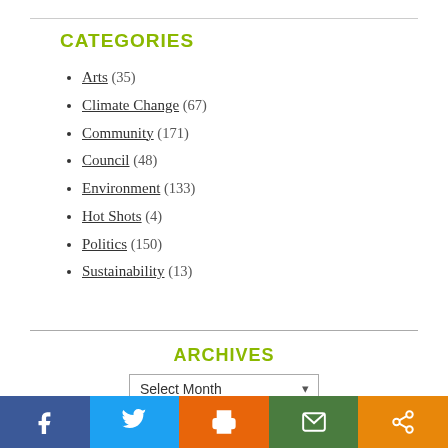CATEGORIES
Arts (35)
Climate Change (67)
Community (171)
Council (48)
Environment (133)
Hot Shots (4)
Politics (150)
Sustainability (13)
ARCHIVES
Select Month